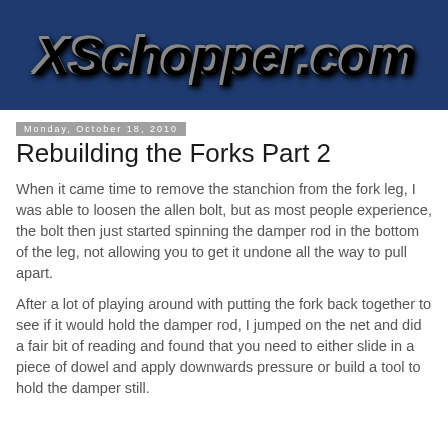[Figure (logo): XSchopper.com logo on dark blue banner background]
Monday, October 18, 2010
Rebuilding the Forks Part 2
When it came time to remove the stanchion from the fork leg, I was able to loosen the allen bolt, but as most people experience, the bolt then just started spinning the damper rod in the bottom of the leg, not allowing you to get it undone all the way to pull apart.
After a lot of playing around with putting the fork back together to see if it would hold the damper rod, I jumped on the net and did a fair bit of reading and found that you need to either slide in a piece of dowel and apply downwards pressure or build a tool to hold the damper still.